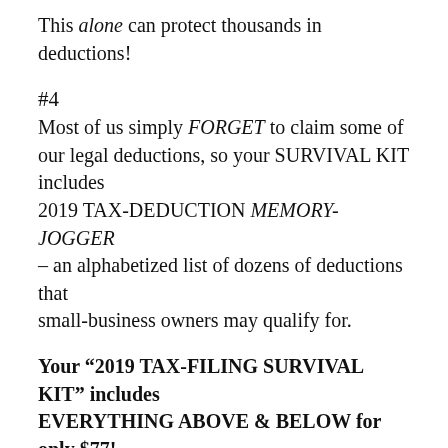This alone can protect thousands in deductions!
#4
Most of us simply FORGET to claim some of our legal deductions, so your SURVIVAL KIT includes 2019 TAX-DEDUCTION MEMORY-JOGGER – an alphabetized list of dozens of deductions that small-business owners may qualify for.
Your “2019 TAX-FILING SURVIVAL KIT” includes EVERYTHING ABOVE & BELOW for only $77!
Click HE RE to BUY NOW